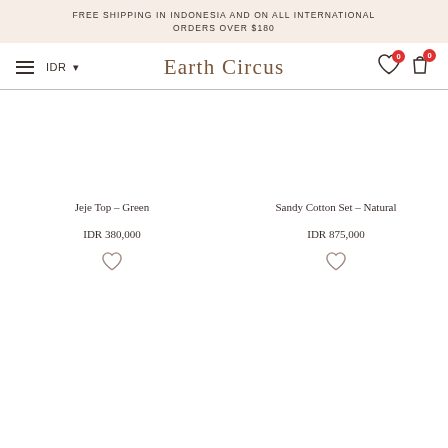FREE SHIPPING IN INDONESIA AND ON ALL INTERNATIONAL ORDERS OVER $180
Earth Circus
Jeje Top – Green
IDR 380,000
Sandy Cotton Set – Natural
IDR 875,000